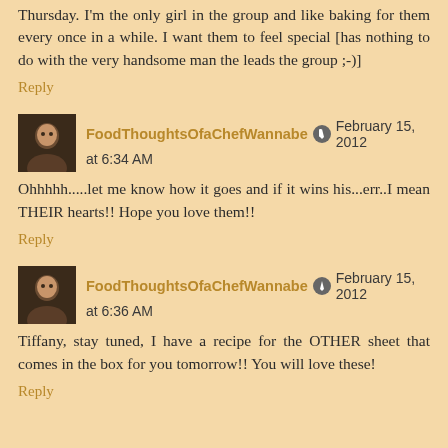Thursday. I'm the only girl in the group and like baking for them every once in a while. I want them to feel special [has nothing to do with the very handsome man the leads the group ;-)]
Reply
FoodThoughtsOfaChefWannabe  February 15, 2012 at 6:34 AM
Ohhhhh.....let me know how it goes and if it wins his...err..I mean THEIR hearts!! Hope you love them!!
Reply
FoodThoughtsOfaChefWannabe  February 15, 2012 at 6:36 AM
Tiffany, stay tuned, I have a recipe for the OTHER sheet that comes in the box for you tomorrow!! You will love these!
Reply